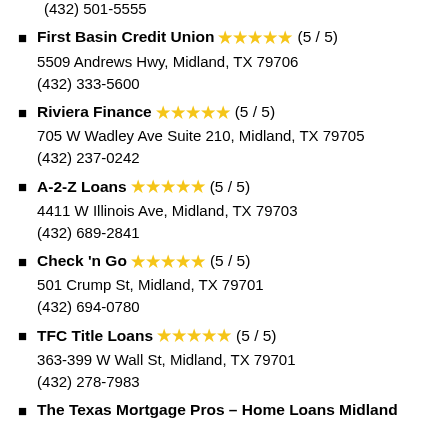(432) 501-3555
First Basin Credit Union ★★★★★ (5 / 5) — 5509 Andrews Hwy, Midland, TX 79706 — (432) 333-5600
Riviera Finance ★★★★★ (5 / 5) — 705 W Wadley Ave Suite 210, Midland, TX 79705 — (432) 237-0242
A-2-Z Loans ★★★★★ (5 / 5) — 4411 W Illinois Ave, Midland, TX 79703 — (432) 689-2841
Check 'n Go ★★★★★ (5 / 5) — 501 Crump St, Midland, TX 79701 — (432) 694-0780
TFC Title Loans ★★★★★ (5 / 5) — 363-399 W Wall St, Midland, TX 79701 — (432) 278-7983
The Texas Mortgage Pros – Home Loans Midland